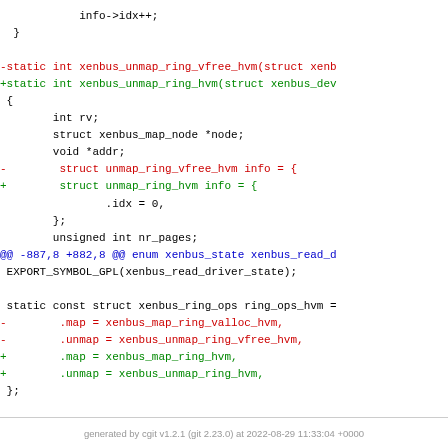Code diff showing xenbus ring operations refactoring
generated by cgit v1.2.1 (git 2.23.0) at 2022-08-29 11:33:04 +0000